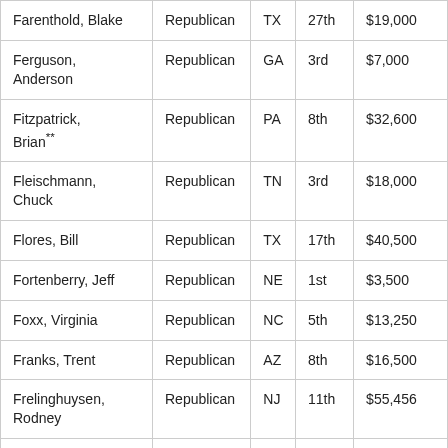| Farenthold, Blake | Republican | TX | 27th | $19,000 |
| Ferguson, Anderson | Republican | GA | 3rd | $7,000 |
| Fitzpatrick, Brian** | Republican | PA | 8th | $32,600 |
| Fleischmann, Chuck | Republican | TN | 3rd | $18,000 |
| Flores, Bill | Republican | TX | 17th | $40,500 |
| Fortenberry, Jeff | Republican | NE | 1st | $3,500 |
| Foxx, Virginia | Republican | NC | 5th | $13,250 |
| Franks, Trent | Republican | AZ | 8th | $16,500 |
| Frelinghuysen, Rodney | Republican | NJ | 11th | $55,456 |
| Gaetz, Matt | Republican | FL | 1st | $7,000 |
| Gallagher, Mike | Republican | WI | 8th | $16,019 |